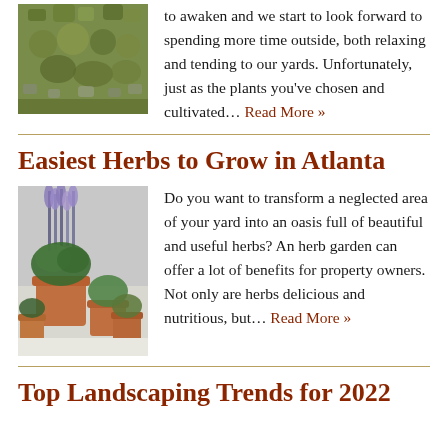[Figure (photo): Aerial view of moss and small stones on ground, yellowish-green moss covering rocks]
to awaken and we start to look forward to spending more time outside, both relaxing and tending to our yards. Unfortunately, just as the plants you've chosen and cultivated… Read More »
Easiest Herbs to Grow in Atlanta
[Figure (photo): Potted herb plants including lavender and rosemary in terracotta pots on white background]
Do you want to transform a neglected area of your yard into an oasis full of beautiful and useful herbs? An herb garden can offer a lot of benefits for property owners. Not only are herbs delicious and nutritious, but… Read More »
Top Landscaping Trends for 2022